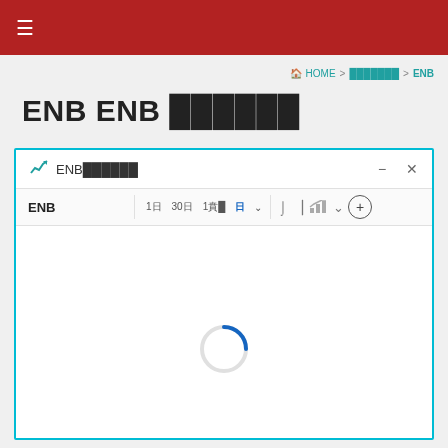≡
🏠 HOME > ░░░░░░░ > ENB
ENB ENB ░░░░░░
↗ ENB░░░░░░
[Figure (screenshot): Stock chart widget for ENB showing toolbar with time intervals (1日, 30日, 1週, 日) and chart type buttons, with a loading spinner in the chart area]